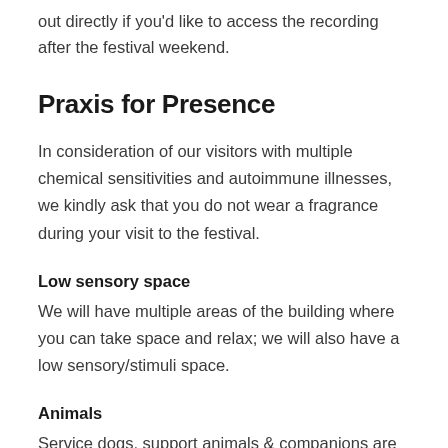out directly if you'd like to access the recording after the festival weekend.
Praxis for Presence
In consideration of our visitors with multiple chemical sensitivities and autoimmune illnesses, we kindly ask that you do not wear a fragrance during your visit to the festival.
Low sensory space
We will have multiple areas of the building where you can take space and relax; we will also have a low sensory/stimuli space.
Animals
Service dogs, support animals & companions are